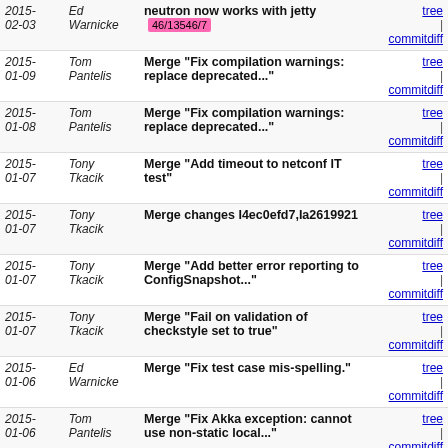| Date | Author | Commit Message | Links |
| --- | --- | --- | --- |
| 2015-02-03 | Ed Warnicke | neutron now works with jetty 46/13546/7 | tree | commitdiff |
| 2015-01-09 | Tom Pantelis | Merge "Fix compilation warnings: replace deprecated..." | tree | commitdiff |
| 2015-01-08 | Tom Pantelis | Merge "Fix compilation warnings: replace deprecated..." | tree | commitdiff |
| 2015-01-07 | Tony Tkacik | Merge "Add timeout to netconf IT test" | tree | commitdiff |
| 2015-01-07 | Tony Tkacik | Merge changes I4ec0efd7,Ia2619921 | tree | commitdiff |
| 2015-01-07 | Tony Tkacik | Merge "Add better error reporting to ConfigSnapshot..." | tree | commitdiff |
| 2015-01-07 | Tony Tkacik | Merge "Fail on validation of checkstyle set to true" | tree | commitdiff |
| 2015-01-06 | Ed Warnicke | Merge "Fix test case mis-spelling." | tree | commitdiff |
| 2015-01-06 | Tom Pantelis | Merge "Fix Akka exception: cannot use non-static local..." | tree | commitdiff |
| 2015-01-06 | Moiz Raja | Merge "Bug 2526: Race condition may cause missing route..." | tree | commitdiff |
| 2015-01-05 | Anil Vishnoi | Merge "Bug 2158: Fixed TopologyManager for edge updates." | tree | commitdiff |
| 2014-12-23 | Moiz Raja | Merge "Introducing karaf-parent (and also group karaf..." | tree | commitdiff |
| 2014-12-23 | Ed Warnicke | Introducing karaf-parent (and also group karaf things) 84/13484/5 | tree | commitdiff |